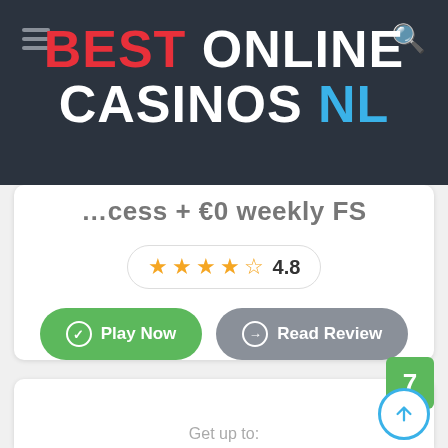BEST ONLINE CASINOS NL
…cess + €0 weekly FS
[Figure (infographic): Star rating pill showing 4.5 stars filled (gold) and rating 4.8]
[Figure (infographic): Two buttons: green Play Now button with checkmark icon, and grey Read Review button with arrow icon]
[Figure (infographic): Green badge with number 7 positioned at top-right of card 2]
Get up to: